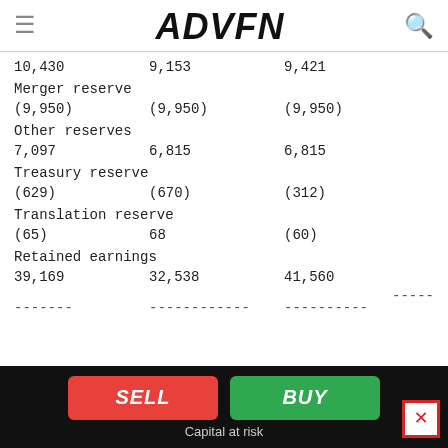ADVFN
10,430   9,153   9,421
Merger reserve
(9,950)   (9,950)   (9,950)
Other reserves
7,097   6,815   6,815
Treasury reserve
(629)   (670)   (312)
Translation reserve
(65)   68   (60)
Retained earnings
39,169   32,538   41,560
-------   ------------   ----------
SELL   BUY   Capital at risk